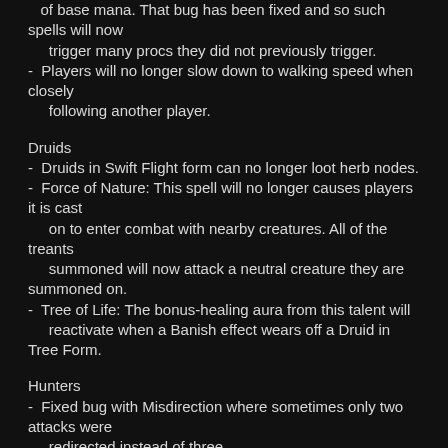of base mana. That bug has been fixed and so such spells will now trigger many procs they did not previously trigger.
Players will no longer slow down to walking speed when closely following another player.
Druids
Druids in Swift Flight form can no longer loot herb nodes.
Force of Nature: This spell will no longer causes players it is cast on to enter combat with nearby creatures. All of the treants summoned will now attack a neutral creature they are summoned on.
Tree of Life: The bonus-healing aura from this talent will reactivate when a Banish effect wears off a Druid in Tree Form.
Hunters
Fixed bug with Misdirection where sometimes only two attacks were redirected instead of three.
Entrapment: This talent will no longer causes Hunter to stand up or stop eating and drinking when it procs.
Improved Mend Pet: This ability will no longer cause Hunters to stand or to interrupt eating and drinking.